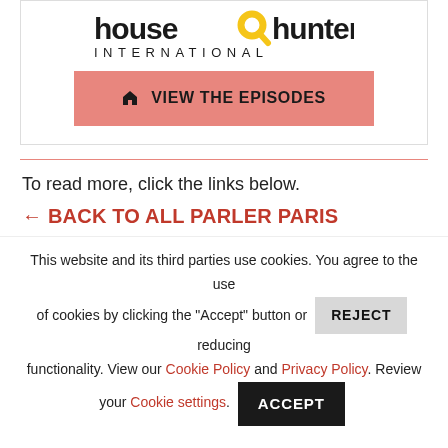[Figure (logo): House Hunters International logo — bold dark letters 'house hunters' on top line with yellow magnifying glass icon, and 'INTERNATIONAL' in spaced capital letters below]
[Figure (other): Pink/salmon button with house icon and text 'VIEW THE EPISODES']
To read more, click the links below.
← BACK TO ALL PARLER PARIS
This website and its third parties use cookies. You agree to the use of cookies by clicking the "Accept" button or REJECT reducing functionality. View our Cookie Policy and Privacy Policy. Review your Cookie settings. ACCEPT